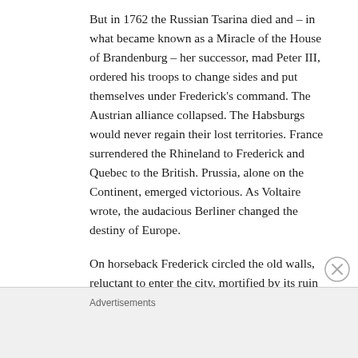But in 1762 the Russian Tsarina died and – in what became known as a Miracle of the House of Brandenburg – her successor, mad Peter III, ordered his troops to change sides and put themselves under Frederick's command. The Austrian alliance collapsed. The Habsburgs would never regain their lost territories. France surrendered the Rhineland to Frederick and Quebec to the British. Prussia, alone on the Continent, emerged victorious. As Voltaire wrote, the audacious Berliner changed the destiny of Europe.
On horseback Frederick circled the old walls, reluctant to enter the city, mortified by its ruin again. He skirted the deserted cattle market – once Berlin's Tyburn and 'devil's pleasure park', soon to
Advertisements